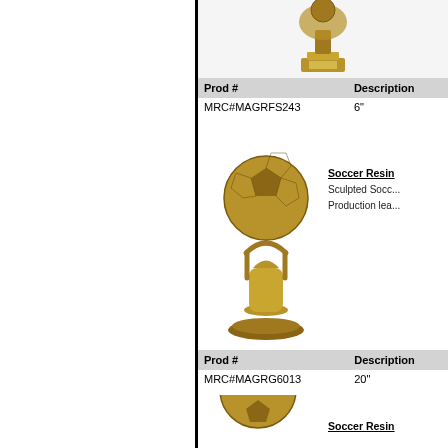[Figure (photo): Bronze/gold soccer resin trophy with hands and ball at top, on a rectangular base with gold nameplate. Partially cropped at top.]
| Prod # | Description |
| --- | --- |
| MRC#MAGRFS243 | 6" |
Soccer Resin
Sculpted Socc...
Production lea...
[Figure (photo): Bronze/gold soccer resin trophy with soccer ball held by upward-reaching arms on a fluted column and round base.]
| Prod # | Description |
| --- | --- |
| MRC#MAGRG6013 | 20" |
[Figure (photo): Partial view of another bronze soccer resin trophy, cropped at bottom of page.]
Soccer Resin